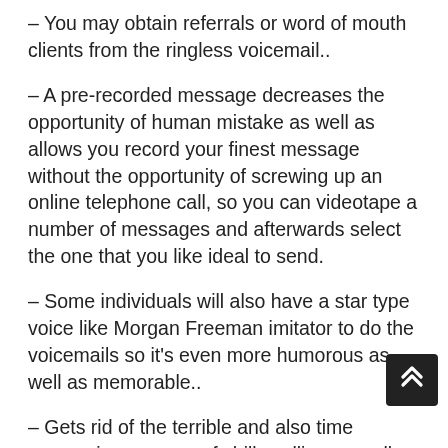– You may obtain referrals or word of mouth clients from the ringless voicemail..
– A pre-recorded message decreases the opportunity of human mistake as well as allows you record your finest message without the opportunity of screwing up an online telephone call, so you can videotape a number of messages and afterwards select the one that you like ideal to send.
– Some individuals will also have a star type voice like Morgan Freeman imitator to do the voicemails so it's even more humorous as well as memorable..
– Gets rid of the terrible and also time consuming process of chilly calling as well as you know just how sales call can go ...- Readily available on both mobile phone and also landlines.
Marketers are already checking out ringless